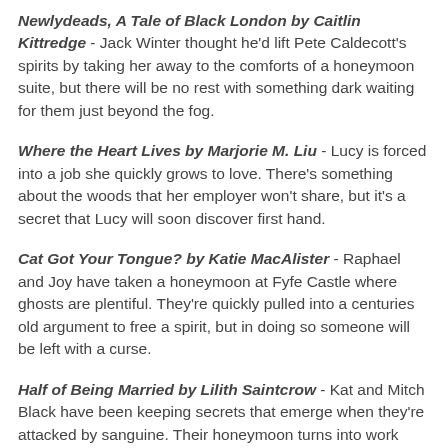Newlydeads, A Tale of Black London by Caitlin Kittredge - Jack Winter thought he'd lift Pete Caldecott's spirits by taking her away to the comforts of a honeymoon suite, but there will be no rest with something dark waiting for them just beyond the fog.
Where the Heart Lives by Marjorie M. Liu - Lucy is forced into a job she quickly grows to love. There's something about the woods that her employer won't share, but it's a secret that Lucy will soon discover first hand.
Cat Got Your Tongue? by Katie MacAlister - Raphael and Joy have taken a honeymoon at Fyfe Castle where ghosts are plentiful. They're quickly pulled into a centuries old argument to free a spirit, but in doing so someone will be left with a curse.
Half of Being Married by Lilith Saintcrow - Kat and Mitch Black have been keeping secrets that emerge when they're attacked by sanguine. Their honeymoon turns into work when teens turn up missing and Kat's sure that there's a nest